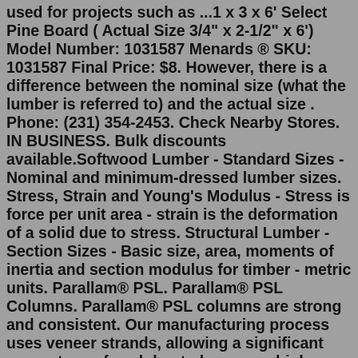used for projects such as ...1 x 3 x 6' Select Pine Board ( Actual Size 3/4" x 2-1/2" x 6') Model Number: 1031587 Menards ® SKU: 1031587 Final Price: $8. However, there is a difference between the nominal size (what the lumber is referred to) and the actual size . Phone: (231) 354-2453. Check Nearby Stores. IN BUSINESS. Bulk discounts available.Softwood Lumber - Standard Sizes - Nominal and minimum-dressed lumber sizes. Stress, Strain and Young's Modulus - Stress is force per unit area - strain is the deformation of a solid due to stress. Structural Lumber - Section Sizes - Basic size, area, moments of inertia and section modulus for timber - metric units. Parallam® PSL. Parallam® PSL Columns. Parallam® PSL columns are strong and consistent. Our manufacturing process uses veneer strands, allowing a significant percentage of each log to become a high-grade structural member. Combine their great load capacity with the strength of Parallam PSL beams for additional possibilities Model # 100180 Store SKU # 1000100180